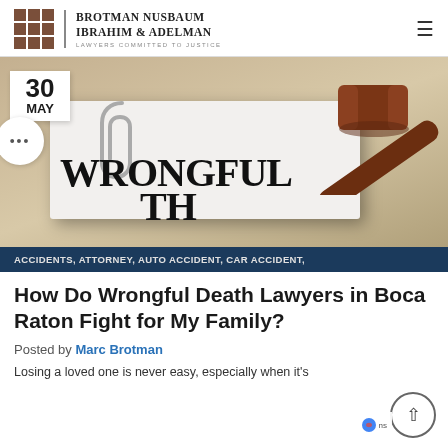Brotman Nusbaum Ibrahim & Adelman — Lawyers Committed to Justice
[Figure (photo): A legal document titled WRONGFUL DEATH with a wooden judge's gavel resting on top, paperclip visible, on a tan background. Date badge showing '30 MAY' overlaid at top left.]
ACCIDENTS, ATTORNEY, AUTO ACCIDENT, CAR ACCIDENT,
How Do Wrongful Death Lawyers in Boca Raton Fight for My Family?
Posted by Marc Brotman
Losing a loved one is never easy, especially when it's